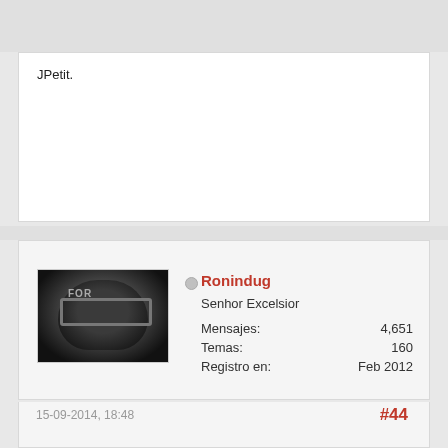JPetit.
Ronindug
Senhor Excelsior
Mensajes: 4,651
Temas: 160
Registro en: Feb 2012
15-09-2014, 18:48    #44
Bienvenido de nuevo
Tanto si piensas que puedes como que no puedes, estas